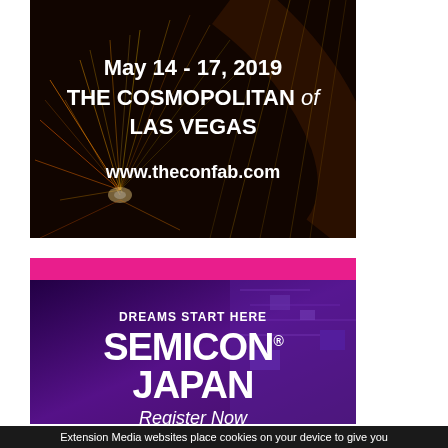[Figure (photo): Advertisement banner with dark background showing steel wool sparks/fireworks in orange and gold. Text overlay reads: May 14 - 17, 2019 / THE COSMOPOLITAN of LAS VEGAS / www.theconfab.com]
[Figure (photo): SEMICON Japan advertisement with purple/magenta circuit board background. Pink bar at top, text reads: DREAMS START HERE / SEMICON JAPAN (registered trademark) / Register Now]
Extension Media websites place cookies on your device to give you